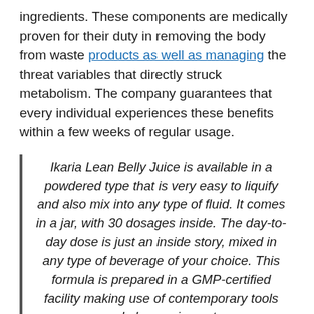ingredients. These components are medically proven for their duty in removing the body from waste products as well as managing the threat variables that directly struck metabolism. The company guarantees that every individual experiences these benefits within a few weeks of regular usage.
Ikaria Lean Belly Juice is available in a powdered type that is very easy to liquify and also mix into any type of fluid. It comes in a jar, with 30 dosages inside. The day-to-day dose is just an inside story, mixed in any type of beverage of your choice. This formula is prepared in a GMP-certified facility making use of contemporary tools and also equipment.